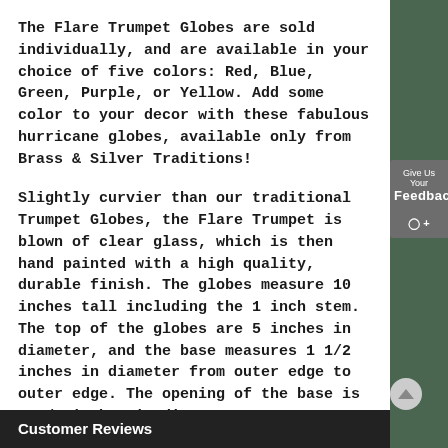The Flare Trumpet Globes are sold individually, and are available in your choice of five colors: Red, Blue, Green, Purple, or Yellow. Add some color to your decor with these fabulous hurricane globes, available only from Brass & Silver Traditions!
Slightly curvier than our traditional Trumpet Globes, the Flare Trumpet is blown of clear glass, which is then hand painted with a high quality, durable finish. The globes measure 10 inches tall including the 1 inch stem. The top of the globes are 5 inches in diameter, and the base measures 1 1/2 inches in diameter from outer edge to outer edge. The opening of the base is 1 3/8 inches in diameter.
Customer Reviews